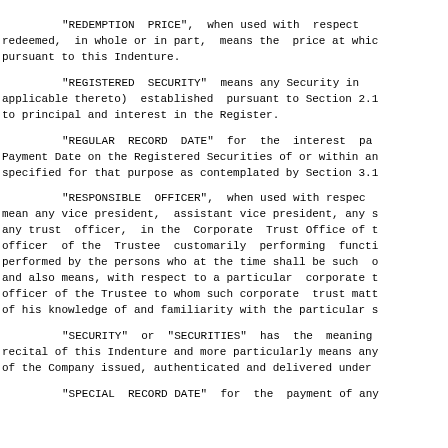"REDEMPTION PRICE", when used with respect redeemed, in whole or in part, means the price at which pursuant to this Indenture.
"REGISTERED SECURITY" means any Security in applicable thereto) established pursuant to Section 2.1 to principal and interest in the Register.
"REGULAR RECORD DATE" for the interest pa Payment Date on the Registered Securities of or within an specified for that purpose as contemplated by Section 3.1
"RESPONSIBLE OFFICER", when used with respect mean any vice president, assistant vice president, any s any trust officer, in the Corporate Trust Office of t officer of the Trustee customarily performing functi performed by the persons who at the time shall be such o and also means, with respect to a particular corporate t officer of the Trustee to whom such corporate trust matt of his knowledge of and familiarity with the particular s
"SECURITY" or "SECURITIES" has the meaning recital of this Indenture and more particularly means any of the Company issued, authenticated and delivered under
"SPECIAL RECORD DATE" for the payment of any